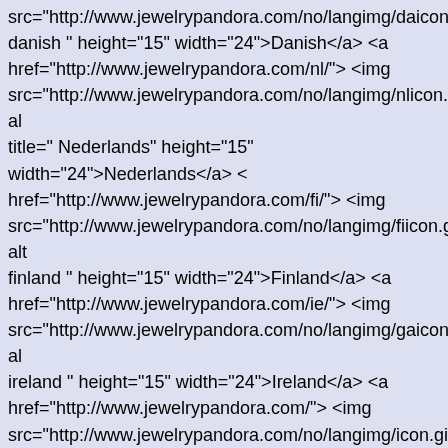src="http://www.jewelrypandora.com/no/langimg/daicon.gif" danish " height="15" width="24">Danish</a> <a href="http://www.jewelrypandora.com/nl/"> <img src="http://www.jewelrypandora.com/no/langimg/nlicon.gif" alt title=" Nederlands" height="15" width="24">Nederlands</a> < href="http://www.jewelrypandora.com/fi/"> <img src="http://www.jewelrypandora.com/no/langimg/fiicon.gif" alt finland " height="15" width="24">Finland</a> <a href="http://www.jewelrypandora.com/ie/"> <img src="http://www.jewelrypandora.com/no/langimg/gaicon.gif" al ireland " height="15" width="24">Ireland</a> <a href="http://www.jewelrypandora.com/"> <img src="http://www.jewelrypandora.com/no/langimg/icon.gif" alt= English " height="15" width="24">English</a> </li> </ul> <a href="http://www.jewelrypandora.com/no/index.php?main_page=Payment_Methods">betaling |</a> <a href="http://www.jewelrypandora.com/no/index.php?main_pag style=" :#fff;">Frakt og retur |</a> <a href="http://www.jewelrypandora.com/no/index.php?main_page=Payment_Methods">Engroshandel |</a> <a href="http://www.jewelrypandora.com/no/index.php?main_page=contact_us">Kontakt oss </a> Welcome! <a href="http://www.jewelrypandora.com/no/index.php?main_pag inn</a> eller <a href="http://www.jewelrypandora.com/no/inde main_page=create_account">registrere</a> <a href="http://www.jewelrypandora.com/no/index.php?main_pag